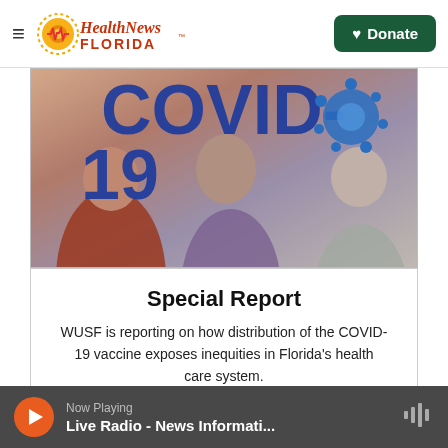Health News Florida — Donate
[Figure (photo): Partial COVID-19 themed banner image showing silhouetted people and a blue COVID-19 virus illustration with partial text 'COVID-19']
Special Report
WUSF is reporting on how distribution of the COVID-19 vaccine exposes inequities in Florida's health care system.
Read More
Now Playing — Live Radio - News Informati...